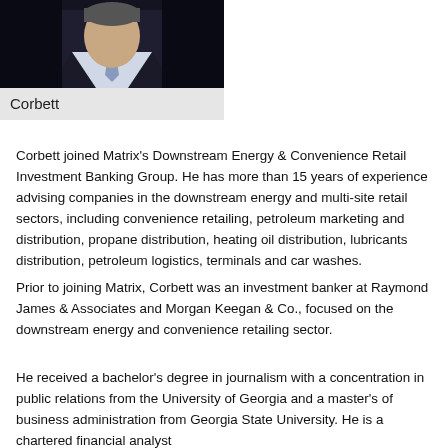[Figure (photo): Headshot photo of Corbett wearing a suit and tie against dark background]
Corbett
Corbett joined Matrix’s Downstream Energy & Convenience Retail Investment Banking Group. He has more than 15 years of experience advising companies in the downstream energy and multi-site retail sectors, including convenience retailing, petroleum marketing and distribution, propane distribution, heating oil distribution, lubricants distribution, petroleum logistics, terminals and car washes.
Prior to joining Matrix, Corbett was an investment banker at Raymond James & Associates and Morgan Keegan & Co., focused on the downstream energy and convenience retailing sector.
He received a bachelor’s degree in journalism with a concentration in public relations from the University of Georgia and a master’s of business administration from Georgia State University. He is a chartered financial analyst